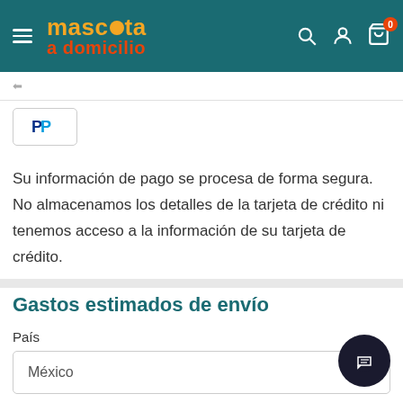[Figure (logo): Mascota a Domicilio logo with teal background header, hamburger menu, search, user, and cart icons]
[Figure (logo): PayPal payment option button in a bordered box]
Su información de pago se procesa de forma segura. No almacenamos los detalles de la tarjeta de crédito ni tenemos acceso a la información de su tarjeta de crédito.
Gastos estimados de envío
País
México
Provincia